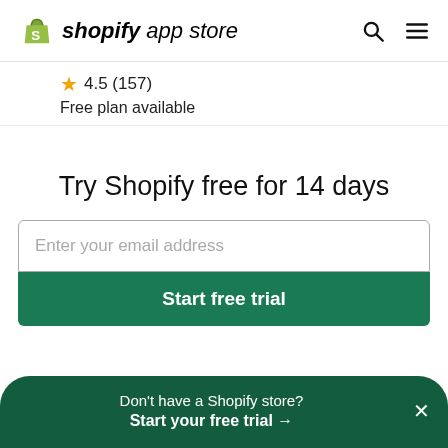shopify app store
★ 4.5 (157)
Free plan available
Try Shopify free for 14 days
Enter your email address
Start free trial
Don't have a Shopify store?
Start your free trial →